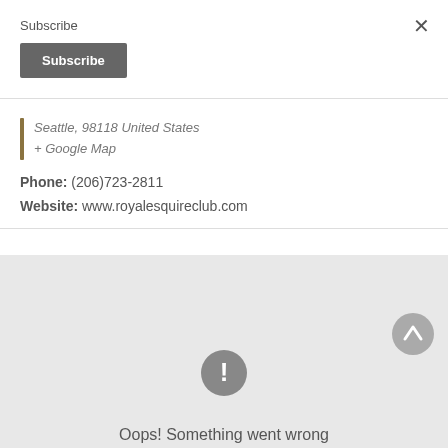Subscribe
Subscribe
×
Seattle, 98118 United States
+ Google Map
Phone: (206)723-2811
Website: www.royalesquireclub.com
[Figure (other): Google Maps embed showing an error state with exclamation icon and text 'Oops! Something went wrong' on a grey background, with a scroll-up arrow button in the bottom right.]